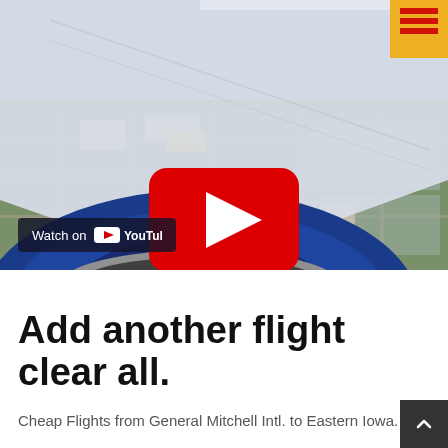[Figure (screenshot): YouTube video thumbnail showing a view from an airplane window — Southwest Airlines aircraft wing and blue engine nacelle in foreground, aerial city view below, with a YouTube play button overlay and 'Watch on YouTube' badge at bottom left]
Add another flight clear all.
Cheap Flights from General Mitchell Intl. to Eastern Iowa.